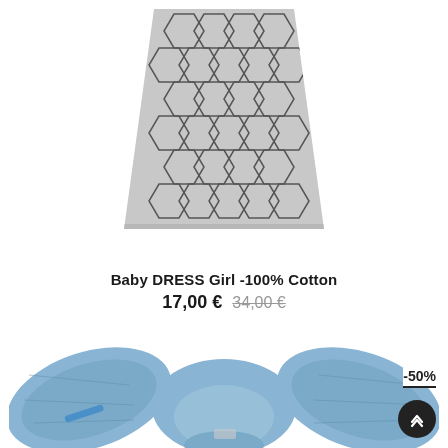[Figure (photo): Gray baby dress with hexagonal/honeycomb pattern, viewed from above, on white background]
Baby DRESS Girl -100% Cotton
17,00 € 34,00 €
[Figure (photo): Light blue baby top/blouse with ruffled flutter sleeves, viewed from above, on white background. Shows a -50% discount badge in top right corner.]